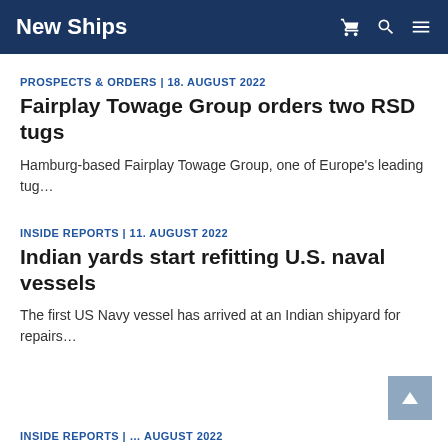New Ships
PROSPECTS & ORDERS | 18. AUGUST 2022
Fairplay Towage Group orders two RSD tugs
Hamburg-based Fairplay Towage Group, one of Europe's leading tug…
INSIDE REPORTS | 11. AUGUST 2022
Indian yards start refitting U.S. naval vessels
The first US Navy vessel has arrived at an Indian shipyard for repairs…
INSIDE REPORTS | … AUGUST 2022